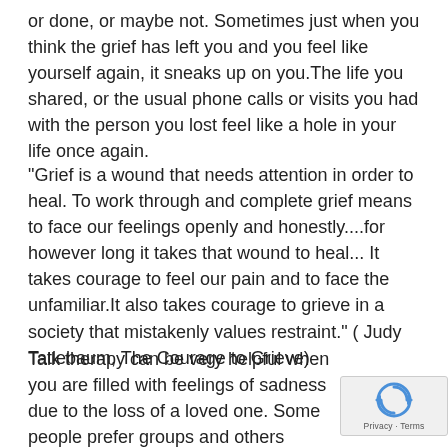or done, or maybe not. Sometimes just when you think the grief has left you and you feel like yourself again, it sneaks up on you.The life you shared, or the usual phone calls or visits you had with the person you lost feel like a hole in your life once again.
“Grief is a wound that needs attention in order to heal. To work through and complete grief means to face our feelings openly and honestly....for however long it takes that wound to heal... It takes courage to feel our pain and to face the unfamiliar.It also takes courage to grieve in a society that mistakenly values restraint.” ( Judy Tatlebaum, The Courage to Grieve)
Talk therapy can be very helpful when you are filled with feelings of sadness due to the loss of a loved one. Some people prefer groups and others prefer individual on one sessions with a grief counselor.
[Figure (logo): reCAPTCHA badge with rotating arrows icon and Privacy · Terms text]